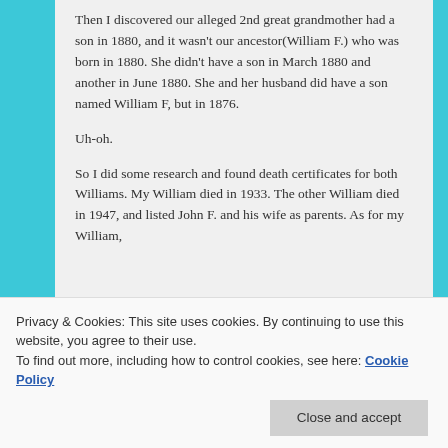Then I discovered our alleged 2nd great grandmother had a son in 1880, and it wasn't our ancestor(William F.) who was born in 1880. She didn't have a son in March 1880 and another in June 1880. She and her husband did have a son named William F, but in 1876.
Uh-oh.
So I did some research and found death certificates for both Williams. My William died in 1933. The other William died in 1947, and listed John F. and his wife as parents. As for my William,
Privacy & Cookies: This site uses cookies. By continuing to use this website, you agree to their use.
To find out more, including how to control cookies, see here: Cookie Policy
miles away. I looked deeper into the census.